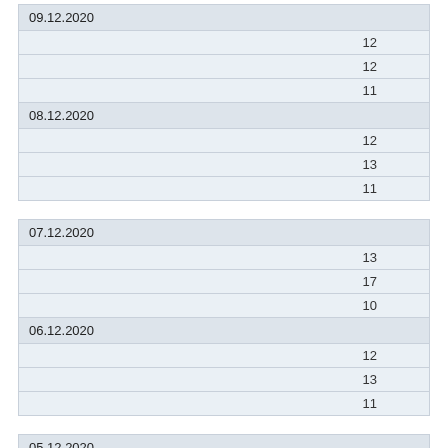| 09.12.2020 |
| --- |
| 12 |
| 12 |
| 11 |
| 08.12.2020 |
| --- |
| 12 |
| 13 |
| 11 |
| 07.12.2020 |
| --- |
| 13 |
| 17 |
| 10 |
| 06.12.2020 |
| --- |
| 12 |
| 13 |
| 11 |
| 05.12.2020 |
| --- |
| 12 |